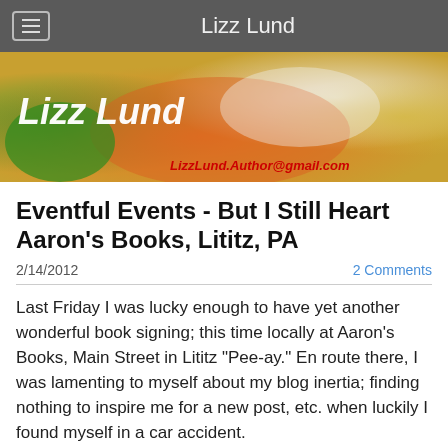Lizz Lund
[Figure (illustration): Banner image with food/cooking background, white italic bold text 'Lizz Lund' on left, red italic email 'LizzLund.Author@gmail.com' on bottom right]
Eventful Events - But I Still Heart Aaron's Books, Lititz, PA
2/14/2012
2 Comments
Last Friday I was lucky enough to have yet another wonderful book signing; this time locally at Aaron's Books, Main Street in Lititz "Pee-ay."  En route there, I was lamenting to myself about my blog inertia; finding nothing to inspire me for a new post, etc. when luckily I found myself in a car accident.
Note to authors:  fender benders en route to book signing is not advisable.